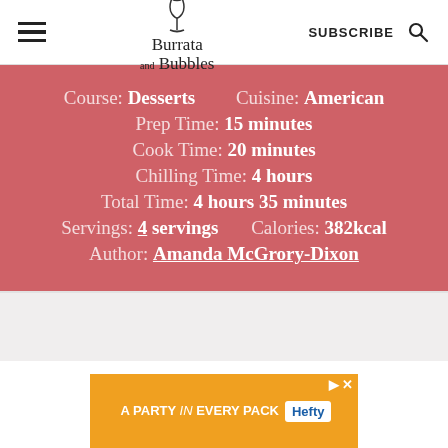Burrata and Bubbles — SUBSCRIBE
Course: Desserts    Cuisine: American
Prep Time: 15 minutes
Cook Time: 20 minutes
Chilling Time: 4 hours
Total Time: 4 hours 35 minutes
Servings: 4 servings    Calories: 382kcal
Author: Amanda McGrory-Dixon
[Figure (other): Advertisement banner: A PARTY in EVERY PACK — Hefty cups product image]